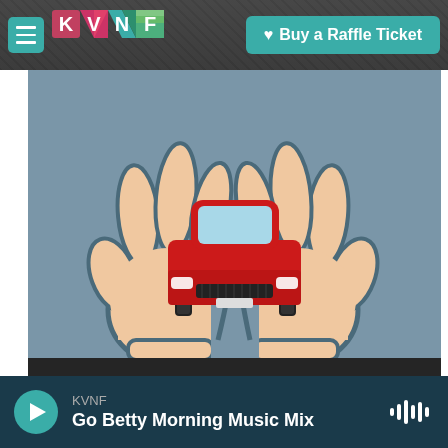[Figure (logo): KVNF radio station logo with colorful geometric shapes]
Buy a Raffle Ticket
[Figure (illustration): Two hands holding up a red car icon on a grey-blue background, representing car donation]
DONATE YOUR CAR!
KVNF
Go Betty Morning Music Mix